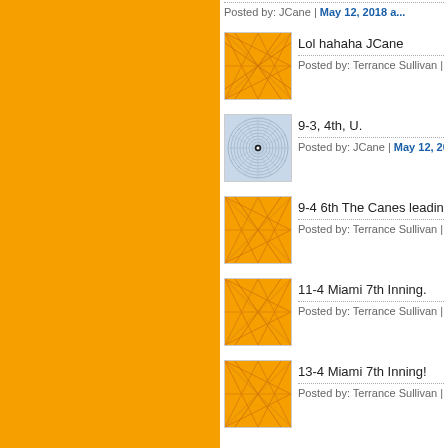[Figure (screenshot): Forum/comment thread with orange sidebar. Shows user comments about a sports game.]
Posted by: JCane | May 12, 2018 a...
[Figure (photo): Orange avatar with geometric pattern]
Lol hahaha JCane
Posted by: Terrance Sullivan | May...
[Figure (photo): Light blue/gray avatar with circular spiral pattern and dot center]
9-3, 4th, U.
Posted by: JCane | May 12, 2018 a...
[Figure (photo): Orange avatar with geometric pattern]
9-4 6th The Canes leading th...
Posted by: Terrance Sullivan | May...
[Figure (photo): Orange avatar with geometric pattern]
11-4 Miami 7th Inning.
Posted by: Terrance Sullivan | May...
[Figure (photo): Orange avatar with geometric pattern]
13-4 Miami 7th Inning!
Posted by: Terrance Sullivan | May...